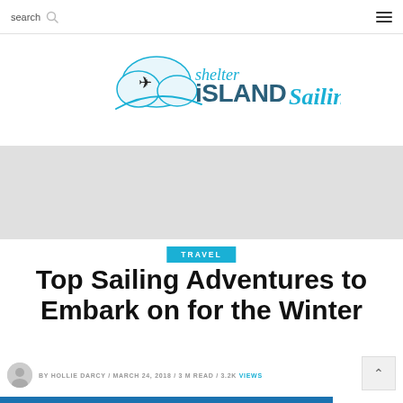search  ☰
[Figure (logo): Shelter Island Sailing logo with airplane and cloud graphic, text reads 'shelter iSLANDSailing' in teal/dark teal colors]
[Figure (photo): Gray placeholder/advertisement image block]
TRAVEL
Top Sailing Adventures to Embark on for the Winter
BY HOLLIE DARCY / MARCH 24, 2018 / 3 M READ / 3.2K VIEWS